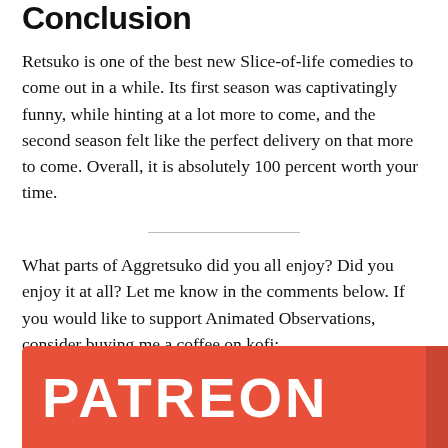Conclusion
Retsuko is one of the best new Slice-of-life comedies to come out in a while. Its first season was captivatingly funny, while hinting at a lot more to come, and the second season felt like the perfect delivery on that more to come. Overall, it is absolutely 100 percent worth your time.
What parts of Aggretsuko did you all enjoy? Did you enjoy it at all? Let me know in the comments below. If you would like to support Animated Observations, consider buying me a coffee on kofi:
[Figure (other): Buy Me a Coffee button — teal rounded rectangle with coffee cup icon and text 'Buy Me a Coffee']
[Figure (other): Patreon banner — orange/red rectangle with white bold text 'PATREON' and a vertical bar on the right]